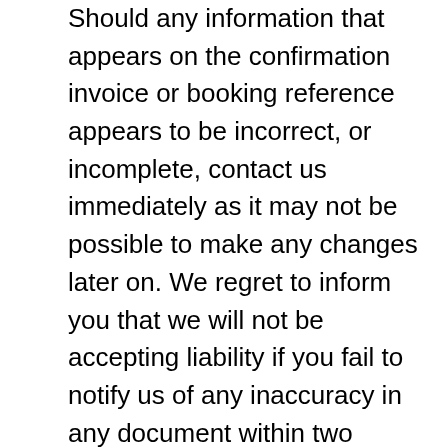Should any information that appears on the confirmation invoice or booking reference appears to be incorrect, or incomplete, contact us immediately as it may not be possible to make any changes later on. We regret to inform you that we will not be accepting liability if you fail to notify us of any inaccuracy in any document within two weeks (14 days) of us sending it out. We will do our very best to amend any mistakes notified to us outside these time limits, however, you must meet any costs involved in doing so. The only exception to this requirement to cover the costs required is where the mistake was made by us and there is a valid reason why you failed to notify us within these time limits.
2. Payment
In order for us to confirm your chosen holiday, the required deposit (per person) (or full payment for bookings within eight weeks of departure) must be paid at the time of booking. The balance of the holiday costs must be received by us no less than 10 weeks prior to departure. The date will be confirmed on the invoice sent to you.